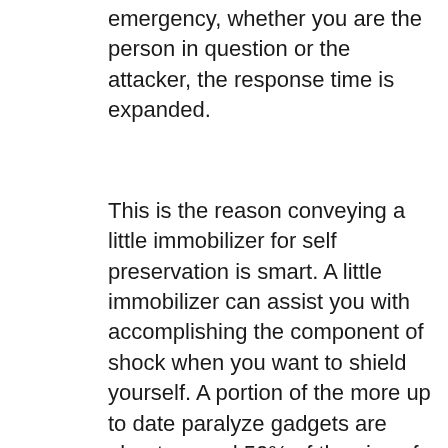emergency, whether you are the person in question or the attacker, the response time is expanded.
This is the reason conveying a little immobilizer for self preservation is smart. A little immobilizer can assist you with accomplishing the component of shock when you want to shield yourself. A portion of the more up to date paralyze gadgets are about around 50% of the size of a mobile phone, making it simple to hide it in the center of your hand until you want to utilize it. In any case, don't allow their little size to trick you. A portion of these gadgets, similar to the Lil' Guy by Stun Master have more than 7 million volts of halting power.
Having the option to convey these gadgets in the center of your hand gives you a benefit concerning the danger that these gadgets that...